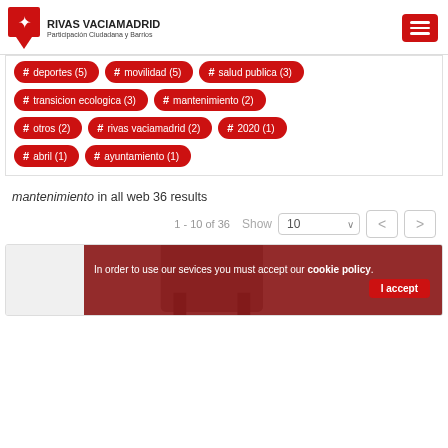RIVAS VACIAMADRID — Participación Ciudadana y Barrios
# deportes (5)
# movilidad (5)
# salud publica (3)
# transicion ecologica (3)
# mantenimiento (2)
# otros (2)
# rivas vaciamadrid (2)
# 2020 (1)
# abril (1)
# ayuntamiento (1)
mantenimiento in all web 36 results
1 - 10 of 36
Show 10
In order to use our sevices you must accept our cookie policy.
I accept